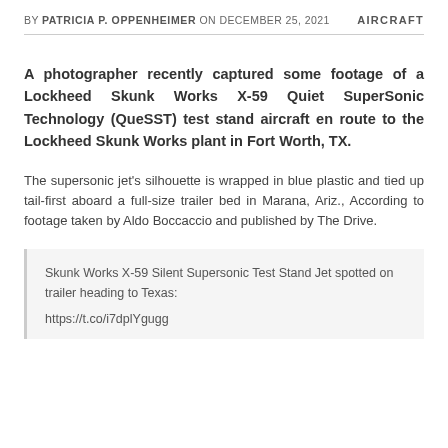BY PATRICIA P. OPPENHEIMER ON DECEMBER 25, 2021   AIRCRAFT
A photographer recently captured some footage of a Lockheed Skunk Works X-59 Quiet SuperSonic Technology (QueSST) test stand aircraft en route to the Lockheed Skunk Works plant in Fort Worth, TX.
The supersonic jet's silhouette is wrapped in blue plastic and tied up tail-first aboard a full-size trailer bed in Marana, Ariz., According to footage taken by Aldo Boccaccio and published by The Drive.
Skunk Works X-59 Silent Supersonic Test Stand Jet spotted on trailer heading to Texas:
https://t.co/i7dplYgugg